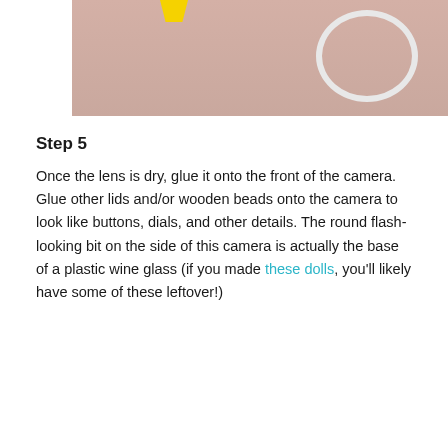[Figure (photo): Top portion of a craft/DIY photo showing yellow piece and white curved element against pink/beige background]
Step 5
Once the lens is dry, glue it onto the front of the camera. Glue other lids and/or wooden beads onto the camera to look like buttons, dials, and other details. The round flash-looking bit on the side of this camera is actually the base of a plastic wine glass (if you made these dolls, you'll likely have some of these leftover!)
[Figure (photo): Photo showing three small polaroid-style craft photos on a pink/beige background: one with rainbow design, one with snowflakes, and one partially visible]